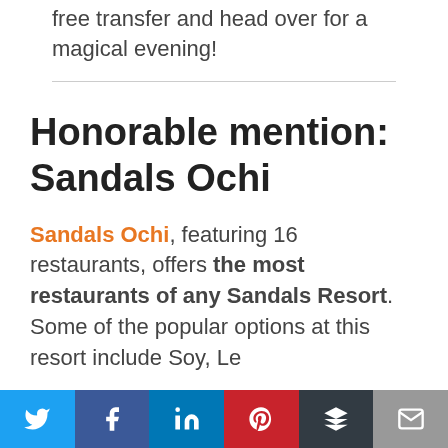free transfer and head over for a magical evening!
Honorable mention: Sandals Ochi
Sandals Ochi, featuring 16 restaurants, offers the most restaurants of any Sandals Resort. Some of the popular options at this resort include Soy, Le
Social share bar: Twitter, Facebook, LinkedIn, Pinterest, Buffer, Email